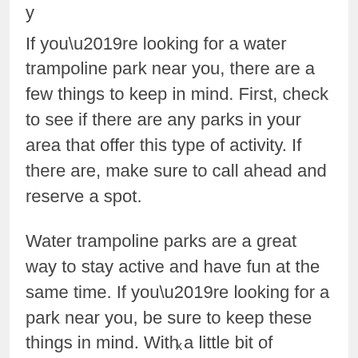If you’re looking for a water trampoline park near you, there are a few things to keep in mind. First, check to see if there are any parks in your area that offer this type of activity. If there are, make sure to call ahead and reserve a spot.
Water trampoline parks are a great way to stay active and have fun at the same time. If you’re looking for a park near you, be sure to keep these things in mind. With a little bit of planning, you’re sure to have a great time!
x